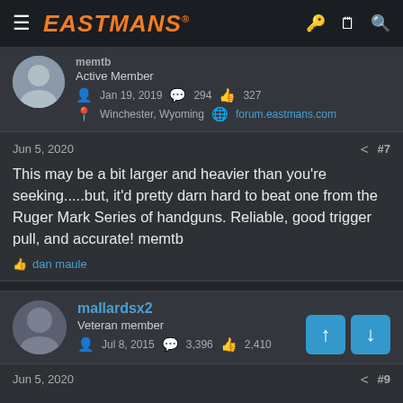EASTMANS
Active Member
Jan 19, 2019  294  327
Winchester, Wyoming  forum.eastmans.com
Jun 5, 2020  #7
This may be a bit larger and heavier than you’re seeking…..but, it’d pretty darn hard to beat one from the Ruger Mark Series of handguns. Reliable, good trigger pull, and accurate! memtb
dan maule
mallardsx2
Veteran member
Jul 8, 2015  3,396  2,410
Jun 5, 2020  #9